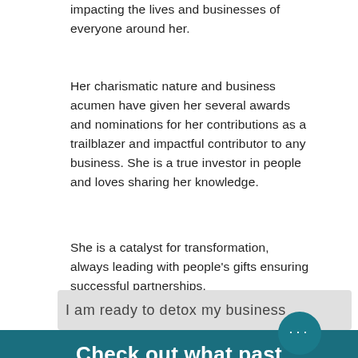impacting the lives and businesses of everyone around her.
Her charismatic nature and business acumen have given her several awards and nominations for her contributions as a trailblazer and impactful contributor to any business. She is a true investor in people and loves sharing her knowledge.
She is a catalyst for transformation, always leading with people’s gifts ensuring successful partnerships.
I am ready to detox my business
Check out what past